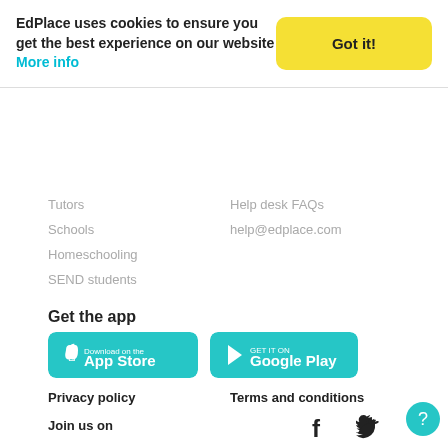EdPlace uses cookies to ensure you get the best experience on our website More info
Got it!
Help desk FAQs
help@edplace.com
Tutors
Schools
Homeschooling
SEND students
Get the app
[Figure (other): App Store download button (teal rounded rectangle with Apple logo)]
[Figure (other): Google Play download button (teal rounded rectangle with Play logo)]
Privacy policy
Terms and conditions
Join us on
[Figure (other): Facebook icon (f)]
[Figure (other): Twitter bird icon]